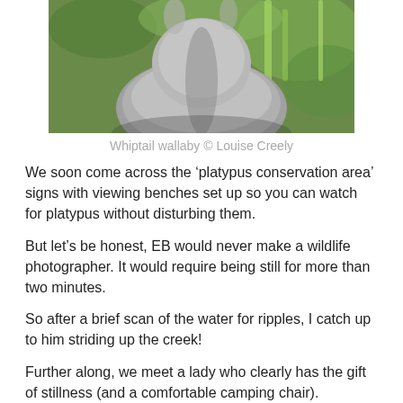[Figure (photo): Close-up photo of a whiptail wallaby with grey fur, green foliage in background]
Whiptail wallaby © Louise Creely
We soon come across the ‘platypus conservation area’ signs with viewing benches set up so you can watch for platypus without disturbing them.
But let’s be honest, EB would never make a wildlife photographer. It would require being still for more than two minutes.
So after a brief scan of the water for ripples, I catch up to him striding up the creek!
Further along, we meet a lady who clearly has the gift of stillness (and a comfortable camping chair).